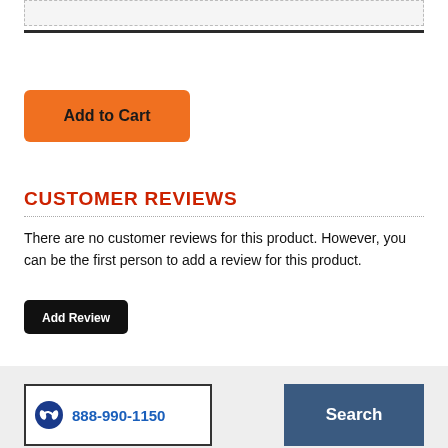[Figure (screenshot): Top portion showing a partially visible UI element with dashed border and dark horizontal rule below it]
[Figure (screenshot): Orange 'Add to Cart' button with bold black text]
CUSTOMER REVIEWS
There are no customer reviews for this product. However, you can be the first person to add a review for this product.
[Figure (screenshot): Black 'Add Review' button with white text]
[Figure (screenshot): Footer band with phone number box showing headset icon and '888-990-1150', and a blue 'Search' button]